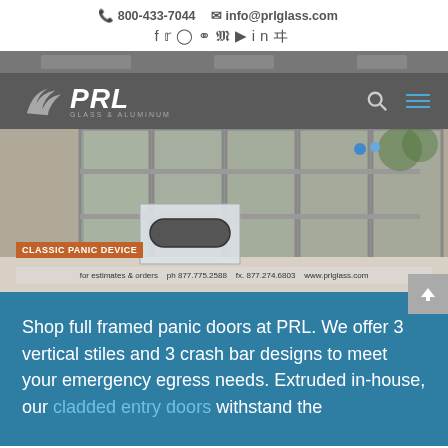800-433-7044  info@prlglass.com
[Figure (screenshot): PRL Glass & Aluminum company website screenshot showing navigation bar with logo, social media icons, a hero image of glass panic doors with 'CLASSIC PANIC DEVICE' label and contact info footer bar, followed by blue content section with text about full framed panic doors.]
Shop full framed panic doors at PRL. We offer 3 vertical stiles and 3 crash bar designs to meet your emergency egress needs. Extruded in-house, our cladded entry doors withstand the